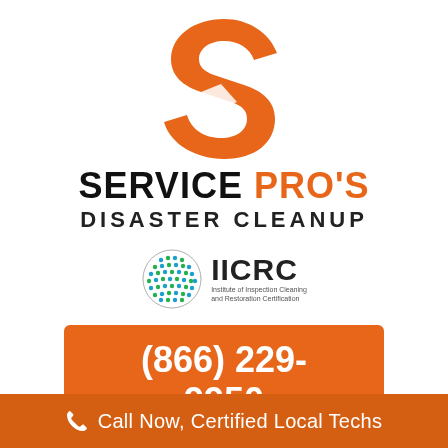[Figure (logo): Service Pro's orange S-shaped logo mark]
SERVICE PRO'S DISASTER CLEANUP
[Figure (logo): IICRC - Institute of Inspection Cleaning and Restoration Certification logo with globe graphic]
(866) 229-9950
Call Now, Certified Local Techs